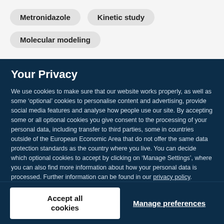Metronidazole
Kinetic study
Molecular modeling
Your Privacy
We use cookies to make sure that our website works properly, as well as some ‘optional’ cookies to personalise content and advertising, provide social media features and analyse how people use our site. By accepting some or all optional cookies you give consent to the processing of your personal data, including transfer to third parties, some in countries outside of the European Economic Area that do not offer the same data protection standards as the country where you live. You can decide which optional cookies to accept by clicking on ‘Manage Settings’, where you can also find more information about how your personal data is processed. Further information can be found in our privacy policy.
Accept all cookies
Manage preferences